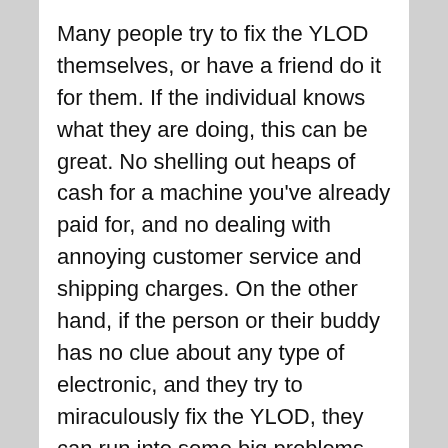Many people try to fix the YLOD themselves, or have a friend do it for them. If the individual knows what they are doing, this can be great. No shelling out heaps of cash for a machine you've already paid for, and no dealing with annoying customer service and shipping charges. On the other hand, if the person or their buddy has no clue about any type of electronic, and they try to miraculously fix the YLOD, they can run into some big problems.
Firstly, attempting to fix the yellow light yourself completely ruins whatever warranty you might have had from Sony. They will no longer let you purchase a cheaper refurbished machine, and they won't fix yours. Instead, if your attempts at fixing it were unsuccessful, you'll be forced to start all...